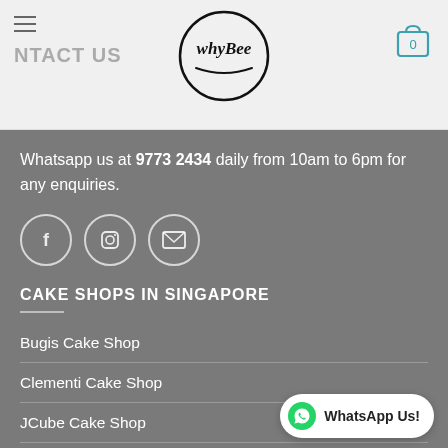CONTACT US
Whatsapp us at 9773 2434 daily from 10am to 6pm for any enquiries.
[Figure (infographic): Three circular social media icons: Facebook (f), Instagram (camera), and email (envelope)]
CAKE SHOPS IN SINGAPORE
Bugis Cake Shop
Clementi Cake Shop
JCube Cake Shop
NEX Cake Shop